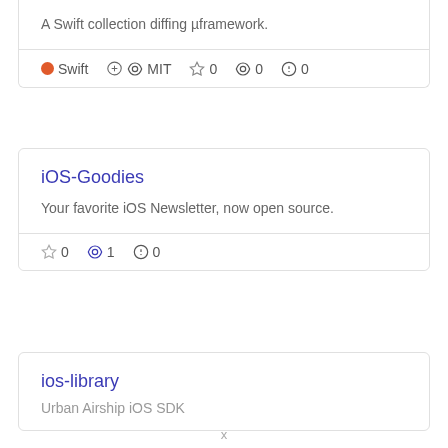A Swift collection diffing µframework.
Swift  MIT  ☆ 0  👁 0  ⚠ 0
iOS-Goodies
Your favorite iOS Newsletter, now open source.
☆ 0  👁 1  ⚠ 0
ios-library
Urban Airship iOS SDK